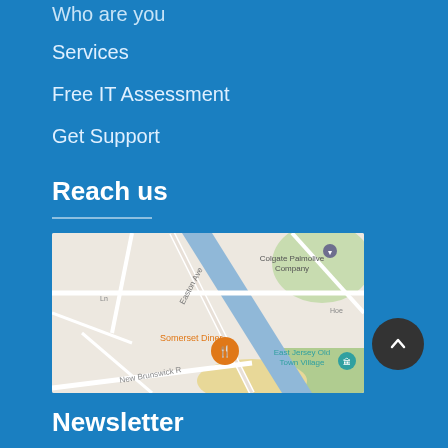Who are you
Services
Free IT Assessment
Get Support
Reach us
[Figure (map): Google Map showing area around Somerset Diner, East Jersey Old Town Village, Colgate Palmolive Company, with roads including Easton Ave and New Brunswick R]
Newsletter